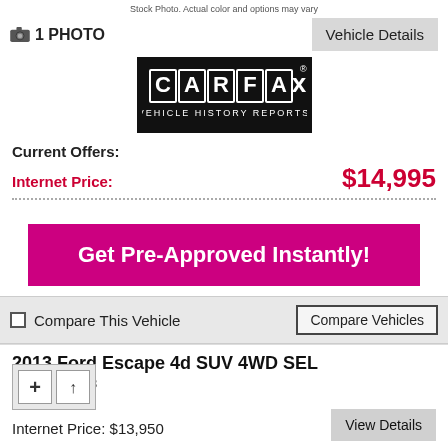Stock Photo. Actual color and options may vary
1 PHOTO
Vehicle Details
[Figure (logo): CARFAX Vehicle History Reports logo, white text on black background]
Current Offers:
Internet Price: $14,995
Get Pre-Approved Instantly!
Compare This Vehicle
Compare Vehicles
2013 Ford Escape 4d SUV 4WD SEL
Stock#: D8058
509
Internet Price: $13,950
View Details